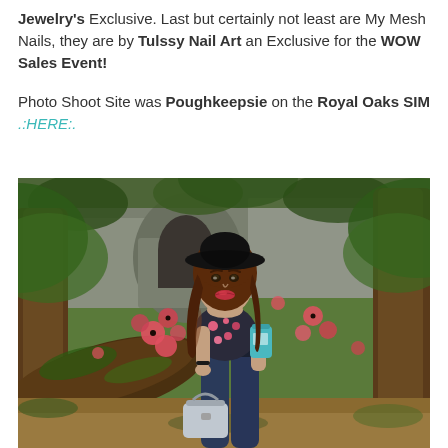Jewelry's Exclusive. Last but certainly not least are My Mesh Nails, they are by Tulssy Nail Art an Exclusive for the WOW Sales Event!
Photo Shoot Site was Poughkeepsie on the Royal Oaks SIM .:HERE:.
[Figure (photo): A virtual world (Second Life style) avatar of a woman with long brown wavy hair, wearing a black wide-brim hat, floral crop top, dark jeans, holding a teal cup and a silver handbag. Background is a lush green fantasy forest scene with large tree roots, stone ruins, pink/red poppy flowers, and ivy-covered walls.]